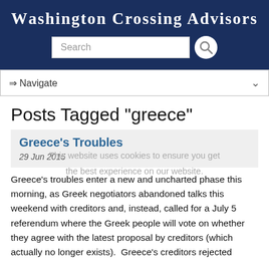Washington Crossing Advisors
[Figure (screenshot): Search bar with search icon on dark navy background]
[Figure (screenshot): Navigate dropdown menu bar]
Posts Tagged "greece"
Greece's Troubles
29 Jun 2015
Greece's troubles enter a new and uncharted phase this morning, as Greek negotiators abandoned talks this weekend with creditors and, instead, called for a July 5 referendum where the Greek people will vote on whether they agree with the latest proposal by creditors (which actually no longer exists).  Greece's creditors rejected